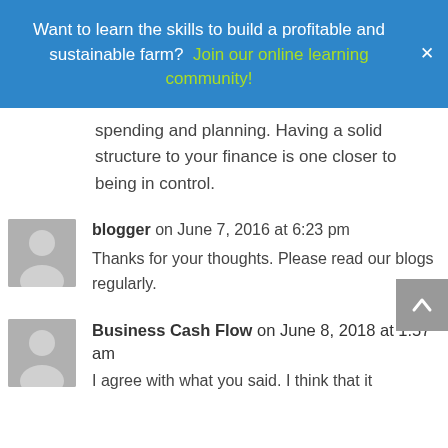Want to learn the skills to build a profitable and sustainable farm?  Join our online learning community!
spending and planning. Having a solid structure to your finance is one closer to being in control.
blogger on June 7, 2016 at 6:23 pm
Thanks for your thoughts. Please read our blogs regularly.
Business Cash Flow on June 8, 2018 at 1:57 am
I agree with what you said. I think that it is very important to …